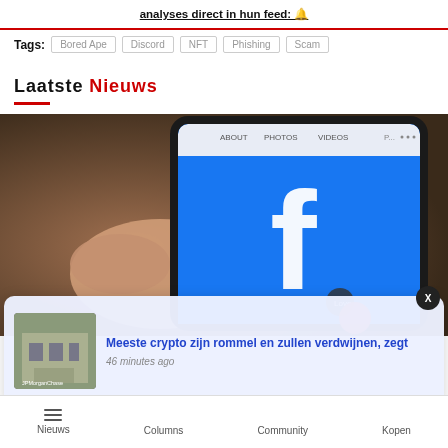analyses direct in hun feed: 🔔
Tags: Bored Ape  Discord  NFT  Phishing  Scam
Laatste Nieuws
[Figure (photo): Hand holding a smartphone displaying the Facebook app (blue screen with white 'f' logo), with a 'Love' reaction button visible. Background is blurred brown tones.]
Meeste crypto zijn rommel en zullen verdwijnen, zegt
46 minutes ago
Nieuws  Columns  Community  Kopen